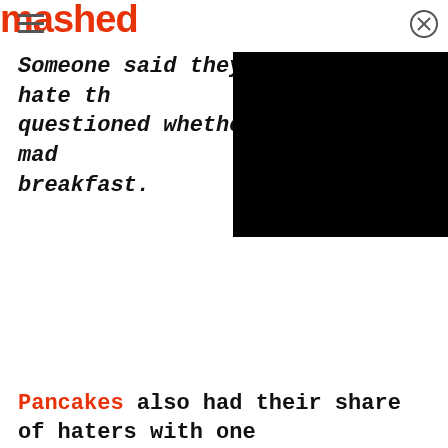mashed
Someone said they hate th[e...] questioned whether it mad[e...] breakfast.
[Figure (other): Black rectangle overlay/video player covering right portion of page]
Pancakes also had their share of haters with one